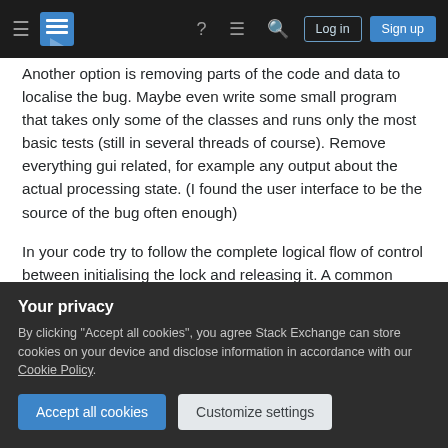Stack Exchange navigation bar with Log in and Sign up buttons
Another option is removing parts of the code and data to localise the bug. Maybe even write some small program that takes only some of the classes and runs only the most basic tests (still in several threads of course). Remove everything gui related, for example any output about the actual processing state. (I found the user interface to be the source of the bug often enough)
In your code try to follow the complete logical flow of control between initialising the lock and releasing it. A common error could be to lock at the start of a
Your privacy
By clicking "Accept all cookies", you agree Stack Exchange can store cookies on your device and disclose information in accordance with our Cookie Policy.
Accept all cookies    Customize settings